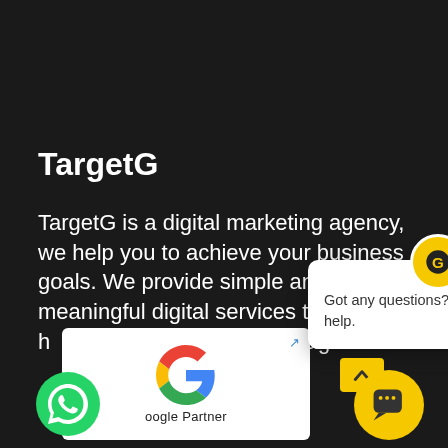TargetG
TargetG is a digital marketing agency, we help you to achieve your business goals. We provide simple and meaningful digital services to help them attract and engage the
[Figure (logo): Google Partner badge with Google G logo and text 'Google Partner']
[Figure (screenshot): Chat popup widget with TargetG bot icon and message 'Got any questions? I'm happy to help.']
[Figure (illustration): WhatsApp green circle icon on lower left]
[Figure (illustration): Yellow chat bubble button on lower right with upward caret and chat icon]